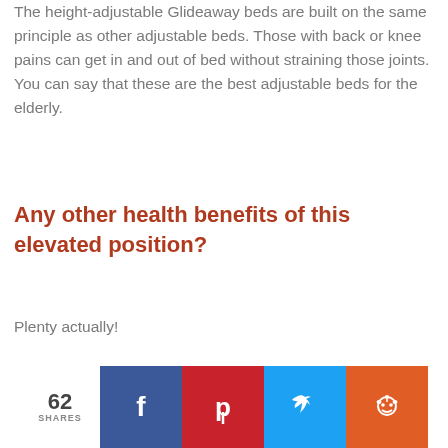The height-adjustable Glideaway beds are built on the same principle as other adjustable beds. Those with back or knee pains can get in and out of bed without straining those joints. You can say that these are the best adjustable beds for the elderly.
Any other health benefits of this elevated position?
Plenty actually!
If youve ever owned or slept on an
[Figure (infographic): Social share bar showing 62 shares with Facebook, Pinterest, Twitter, and Reddit buttons]